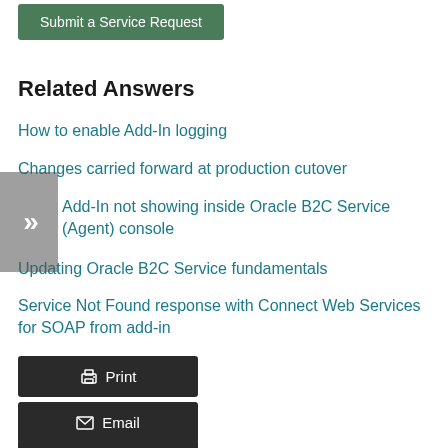Submit a Service Request
Related Answers
How to enable Add-In logging
Changes carried forward at production cutover
Add-In not showing inside Oracle B2C Service (Agent) console
Updating Oracle B2C Service fundamentals
Service Not Found response with Connect Web Services for SOAP from add-in
Print
Email
Notify Me